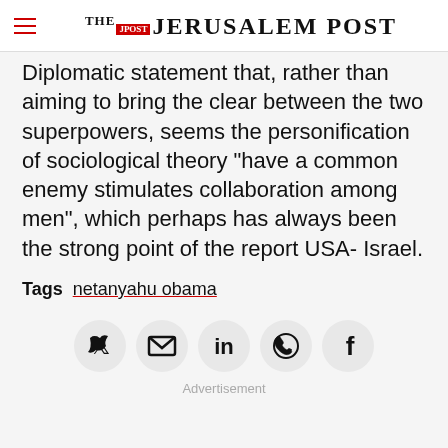THE JERUSALEM POST
Diplomatic statement that, rather than aiming to bring the clear between the two superpowers, seems the personification of sociological theory "have a common enemy stimulates collaboration among men", which perhaps has always been the strong point of the report USA- Israel.
Tags  netanyahu obama
[Figure (other): Social share buttons: Twitter, Email, LinkedIn, WhatsApp, Facebook]
Advertisement